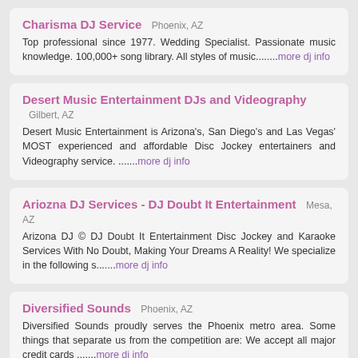Charisma DJ Service — Phoenix, AZ. Top professional since 1977. Wedding Specialist. Passionate music knowledge. 100,000+ song library. All styles of music........more dj info
Desert Music Entertainment DJs and Videography — Gilbert, AZ. Desert Music Entertainment is Arizona's, San Diego's and Las Vegas' MOST experienced and affordable Disc Jockey entertainers and Videography service. .......more dj info
Ariozna DJ Services - DJ Doubt It Entertainment — Mesa, AZ. Arizona DJ © DJ Doubt It Entertainment Disc Jockey and Karaoke Services With No Doubt, Making Your Dreams A Reality! We specialize in the following s.......more dj info
Diversified Sounds — Phoenix, AZ. Diversified Sounds proudly serves the Phoenix metro area. Some things that separate us from the competition are: We accept all major credit cards .......more dj info